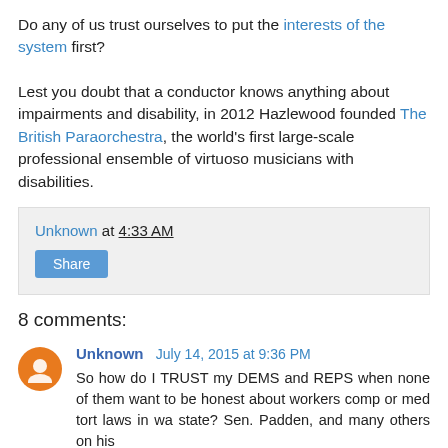Do any of us trust ourselves to put the interests of the system first?
Lest you doubt that a conductor knows anything about impairments and disability, in 2012 Hazlewood founded The British Paraorchestra, the world's first large-scale professional ensemble of virtuoso musicians with disabilities.
Unknown at 4:33 AM
Share
8 comments:
Unknown July 14, 2015 at 9:36 PM
So how do I TRUST my DEMS and REPS when none of them want to be honest about workers comp or med tort laws in wa state? Sen. Padden, and many others on his